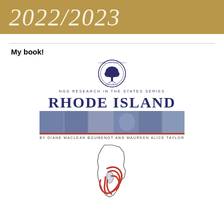2022/2023
My book!
[Figure (illustration): Book cover for NGS Research in the States Series: Rhode Island, by Diane MacLean Boumenot and Maureen Alice Taylor. Shows NGS circular tree logo at top, title text, a photo banner of Rhode Island scenes, author names, and a map outline of Rhode Island with red stylized figure.]